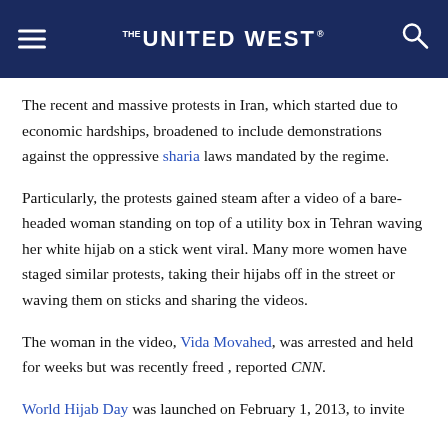THE UNITED WEST
The recent and massive protests in Iran, which started due to economic hardships, broadened to include demonstrations against the oppressive sharia laws mandated by the regime.
Particularly, the protests gained steam after a video of a bare-headed woman standing on top of a utility box in Tehran waving her white hijab on a stick went viral. Many more women have staged similar protests, taking their hijabs off in the street or waving them on sticks and sharing the videos.
The woman in the video, Vida Movahed, was arrested and held for weeks but was recently freed , reported CNN.
World Hijab Day was launched on February 1, 2013, to invite non-Muslim women to wear the hijab in solidarity with Muslims...